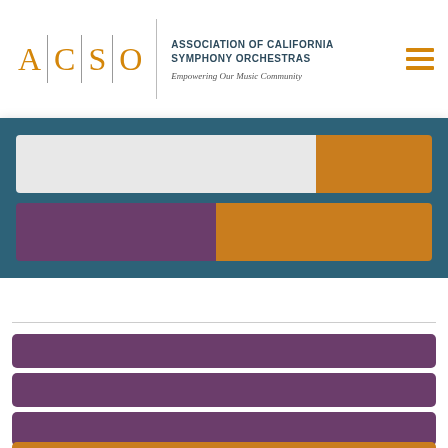[Figure (logo): ACSO logo with letters A C S O separated by vertical lines]
ASSOCIATION OF CALIFORNIA SYMPHONY ORCHESTRAS
Empowering Our Music Community
[Figure (infographic): Teal banner with two horizontal bars: first bar is light gray and orange, second bar is purple and orange]
[Figure (infographic): Three purple rounded rectangular cards stacked vertically with a partial orange card at the bottom]